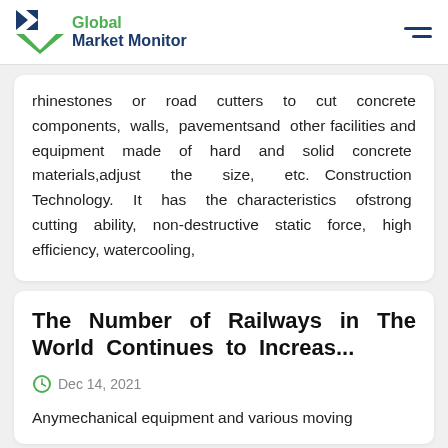Global Market Monitor
rhinestones or road cutters to cut concrete components, walls, pavementsand other facilities and equipment made of hard and solid concrete materials,adjust the size, etc. Construction Technology. It has the characteristics ofstrong cutting ability, non-destructive static force, high efficiency, watercooling,
The Number of Railways in The World Continues to Increas...
Dec 14, 2021
Anymechanical equipment and various moving